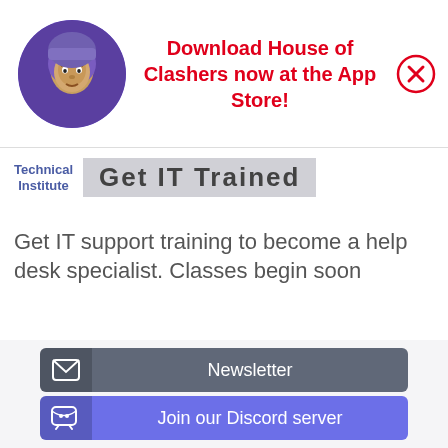[Figure (infographic): App store advertisement banner with a circular avatar image of a warrior character, red bold text 'Download House of Clashers now at the App Store!', and a red X close button]
[Figure (logo): Career Technical Institute logo with blue text 'Technical Institute' and a gray banner reading 'Get IT Trained']
Get IT support training to become a help desk specialist. Classes begin soon
CareerTechnical Institute
Open
Newsletter
Join our Discord server